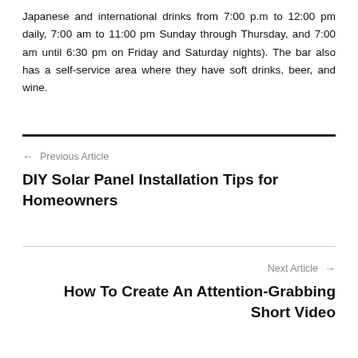Japanese and international drinks from 7:00 p.m to 12:00 pm daily, 7:00 am to 11:00 pm Sunday through Thursday, and 7:00 am until 6:30 pm on Friday and Saturday nights). The bar also has a self-service area where they have soft drinks, beer, and wine.
← Previous Article
DIY Solar Panel Installation Tips for Homeowners
Next Article →
How To Create An Attention-Grabbing Short Video